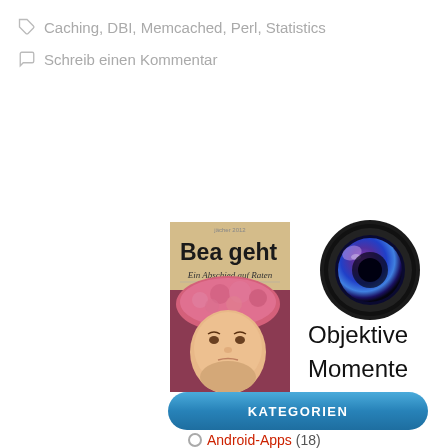Caching, DBI, Memcached, Perl, Statistics
Schreib einen Kommentar
[Figure (photo): Book cover titled 'Bea geht - Ein Abschied auf Raten' showing a girl in a pink fuzzy hat]
[Figure (photo): Camera lens icon above text 'Objektive Momente']
KATEGORIEN
Android-Apps (18)